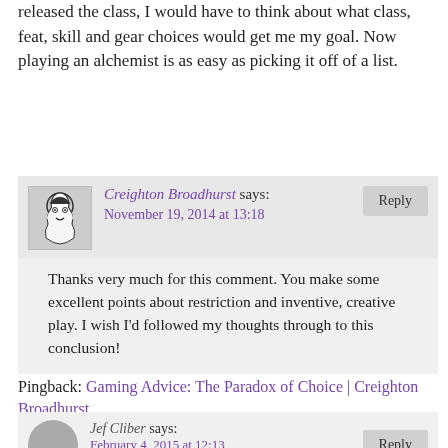released the class, I would have to think about what class, feat, skill and gear choices would get me my goal. Now playing an alchemist is as easy as picking it off of a list.
Creighton Broadhurst says: November 19, 2014 at 13:18
Thanks very much for this comment. You make some excellent points about restriction and inventive, creative play. I wish I’d followed my thoughts through to this conclusion!
Pingback: Gaming Advice: The Paradox of Choice | Creighton Broadhurst
Jef Cliber says: February 4, 2015 at 12:13